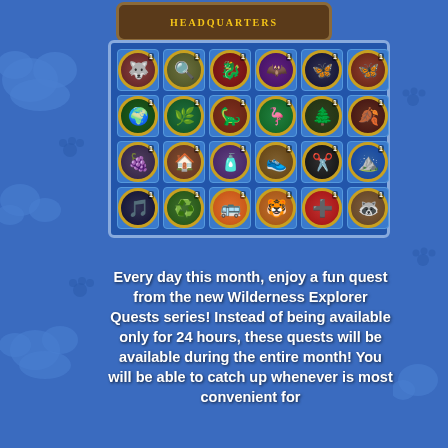[Figure (illustration): Game UI screenshot showing a 'HEADQUARTERS' sign at top, a 4x6 grid of circular badge icons on a blue panel background, and descriptive text below. The badges show various animal and nature themed icons each with a '1' counter. Background is blue with cloud/paw print decorations on sides.]
Every day this month, enjoy a fun quest from the new Wilderness Explorer Quests series! Instead of being available only for 24 hours, these quests will be available during the entire month! You will be able to catch up whenever is most convenient for